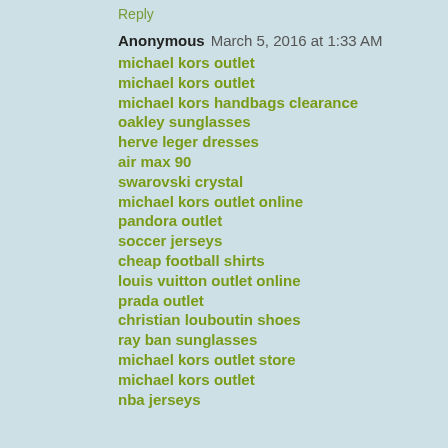Reply
Anonymous  March 5, 2016 at 1:33 AM
michael kors outlet
michael kors outlet
michael kors handbags clearance
oakley sunglasses
herve leger dresses
air max 90
swarovski crystal
michael kors outlet online
pandora outlet
soccer jerseys
cheap football shirts
louis vuitton outlet online
prada outlet
christian louboutin shoes
ray ban sunglasses
michael kors outlet store
michael kors outlet
nba jerseys